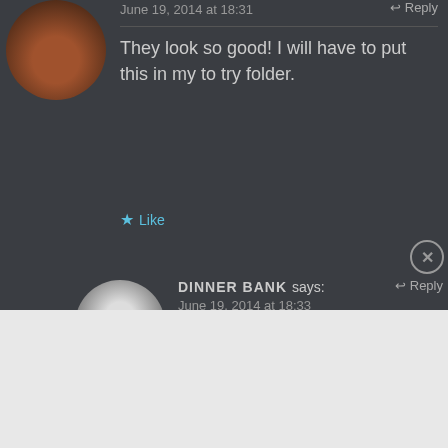June 19, 2014 at 18:31
They look so good! I will have to put this in my to try folder.
★ Like
DINNER BANK says:
June 19, 2014 at 18:33
Thanks 🙂 They are very nice once
[Figure (screenshot): DuckDuckGo advertisement banner with orange/red background. Text: 'Search, browse, and email with more privacy. All in One Free App'. Shows a phone with DuckDuckGo logo.]
Advertisements